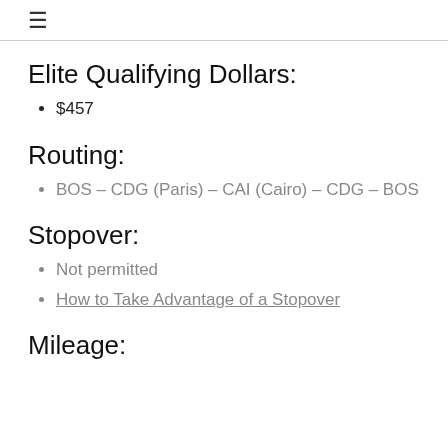≡
Elite Qualifying Dollars:
$457
Routing:
BOS – CDG (Paris) – CAI (Cairo) – CDG – BOS
Stopover:
Not permitted
How to Take Advantage of a Stopover
Mileage: